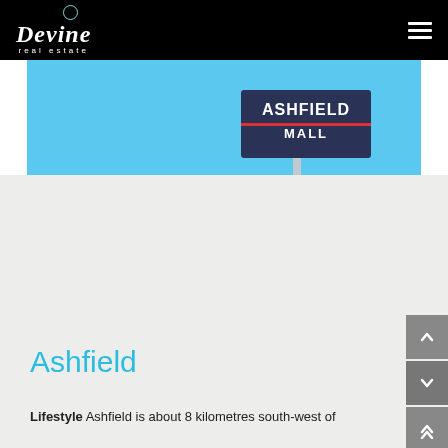[Figure (logo): Devine real estate logo with circle above, white text on black background]
[Figure (photo): Ashfield Mall sign against a blue sky background]
Ashfield
Lifestyle Ashfield is about 8 kilometres south-west of